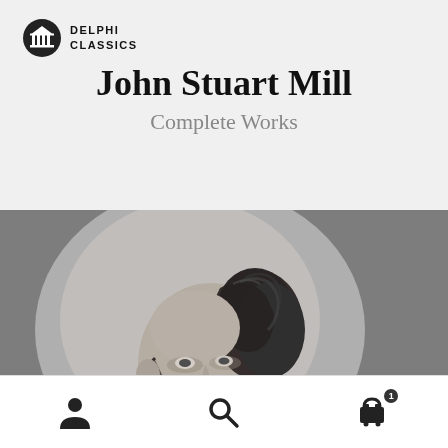[Figure (logo): Delphi Classics logo: a classical column/temple icon with text DELPHI CLASSICS]
John Stuart Mill
Complete Works
[Figure (photo): Black and white historical photograph showing the head and upper body of John Stuart Mill, cropped showing mostly his head from the side/angle]
[Figure (infographic): Bottom navigation bar with three icons: person/account icon, search/magnifying glass icon, and shopping cart icon with badge showing number 1]